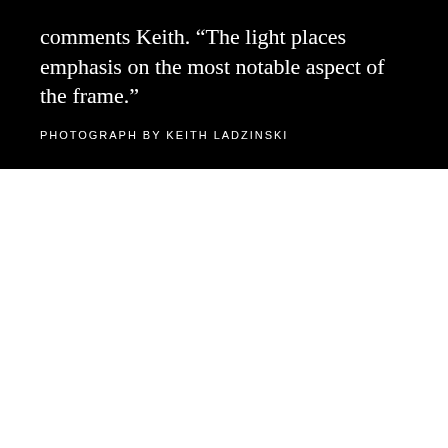comments Keith. “The light places emphasis on the most notable aspect of the frame.”
PHOTOGRAPH BY KEITH LADZINSKI